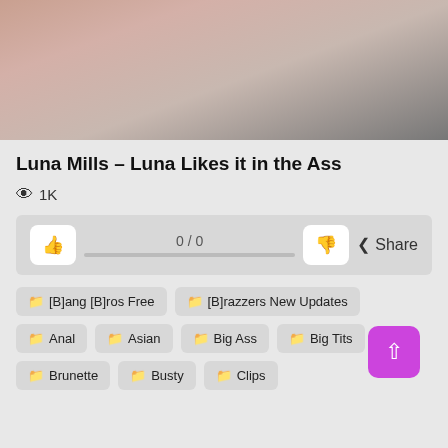[Figure (photo): Partial view of a person with tattoos in a bedroom setting]
Luna Mills – Luna Likes it in the Ass
👁 1K
0 / 0  Share
📁 [B]ang [B]ros Free
📁 [B]razzers New Updates
📁 Anal
📁 Asian
📁 Big Ass
📁 Big Tits
📁 Brunette
📁 Busty
📁 Clips